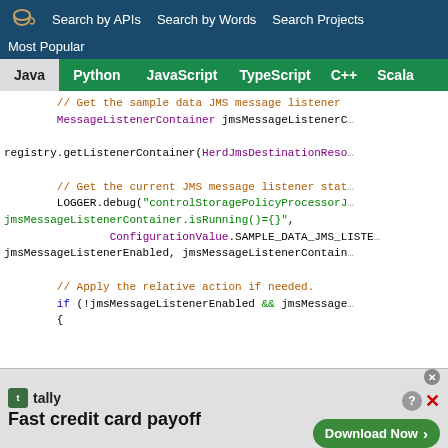Search by APIs  Search by Words  Search Projects
Most Popular
Java  Python  JavaScript  TypeScript  C++  Scala
[Figure (screenshot): Java code snippet showing JMS message listener container operations with colored syntax highlighting]
Tally - Fast credit card payoff - Download Now